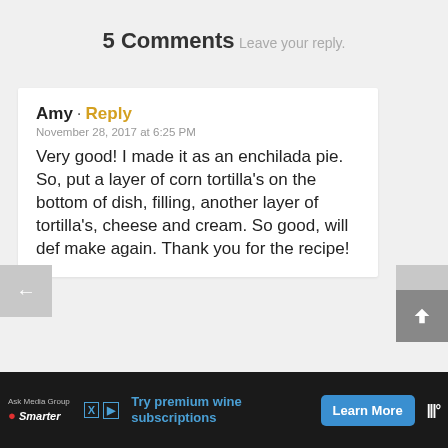5 Comments
Leave your reply.
Amy · Reply
November 28, 2017 at 6:25 PM
Very good! I made it as an enchilada pie. So, put a layer of corn tortilla's on the bottom of dish, filling, another layer of tortilla's, cheese and cream. So good, will def make again. Thank you for the recipe!
Ask Media Group
Try premium wine subscriptions